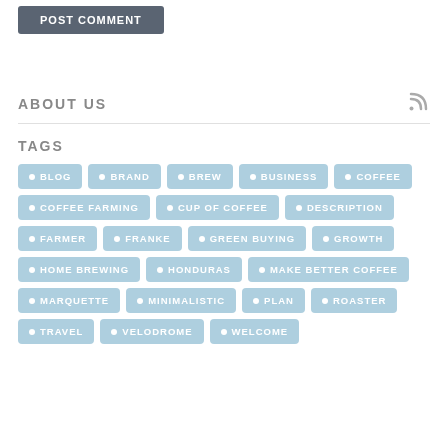POST COMMENT
ABOUT US
TAGS
BLOG
BRAND
BREW
BUSINESS
COFFEE
COFFEE FARMING
CUP OF COFFEE
DESCRIPTION
FARMER
FRANKE
GREEN BUYING
GROWTH
HOME BREWING
HONDURAS
MAKE BETTER COFFEE
MARQUETTE
MINIMALISTIC
PLAN
ROASTER
TRAVEL
VELODROME
WELCOME